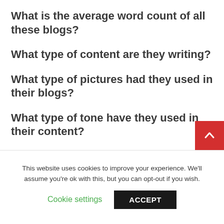What is the average word count of all these blogs?
What type of content are they writing?
What type of pictures had they used in their blogs?
What type of tone have they used in their content?
When writing sales copy, blog posts, and guest posts for your client, you can take inspiration
This website uses cookies to improve your experience. We'll assume you're ok with this, but you can opt-out if you wish.